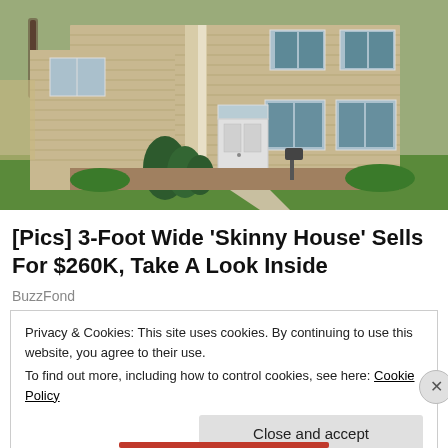[Figure (photo): Exterior photo of a two-story beige/tan colonial-style house with teal shutters, white front door, evergreen shrubs, and green lawn in spring.]
[Pics] 3-Foot Wide 'Skinny House' Sells For $260K, Take A Look Inside
BuzzFond
Privacy & Cookies: This site uses cookies. By continuing to use this website, you agree to their use.
To find out more, including how to control cookies, see here: Cookie Policy
Close and accept